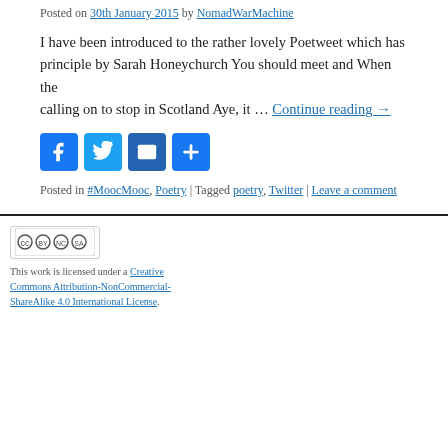Posted on 30th January 2015 by NomadWarMachine
I have been introduced to the rather lovely Poetweet which has principle by Sarah Honeychurch You should meet and When the calling on to stop in Scotland Aye, it … Continue reading →
[Figure (other): Social sharing buttons: Facebook, Twitter, Email, Plus]
Posted in #MoocMooc, Poetry | Tagged poetry, Twitter | Leave a comment
This work is licensed under a Creative Commons Attribution-NonCommercial-ShareAlike 4.0 International License.